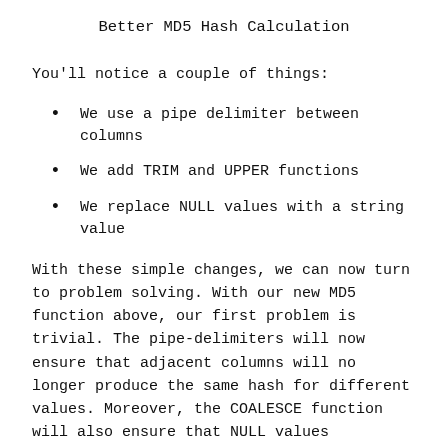Better MD5 Hash Calculation
You'll notice a couple of things:
We use a pipe delimiter between columns
We add TRIM and UPPER functions
We replace NULL values with a string value
With these simple changes, we can now turn to problem solving. With our new MD5 function above, our first problem is trivial. The pipe-delimiters will now ensure that adjacent columns will no longer produce the same hash for different values. Moreover, the COALESCE function will also ensure that NULL values